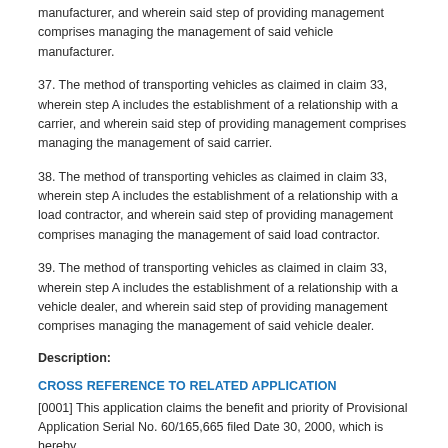step A includes the establishment of a relationship with a vehicle manufacturer, and wherein said step of providing management comprises managing the management of said vehicle manufacturer.
37. The method of transporting vehicles as claimed in claim 33, wherein step A includes the establishment of a relationship with a carrier, and wherein said step of providing management comprises managing the management of said carrier.
38. The method of transporting vehicles as claimed in claim 33, wherein step A includes the establishment of a relationship with a load contractor, and wherein said step of providing management comprises managing the management of said load contractor.
39. The method of transporting vehicles as claimed in claim 33, wherein step A includes the establishment of a relationship with a vehicle dealer, and wherein said step of providing management comprises managing the management of said vehicle dealer.
Description:
CROSS REFERENCE TO RELATED APPLICATION
[0001] This application claims the benefit and priority of Provisional Application Serial No. 60/165,665 filed Date 30, 2000, which is hereby...